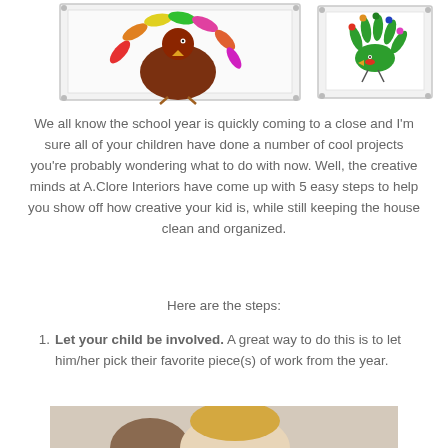[Figure (photo): Two framed children's handprint turkey art projects displayed side by side]
We all know the school year is quickly coming to a close and I'm sure all of your children have done a number of cool projects you're probably wondering what to do with now. Well, the creative minds at A.Clore Interiors have come up with 5 easy steps to help you show off how creative your kid is, while still keeping the house clean and organized.
Here are the steps:
Let your child be involved. A great way to do this is to let him/her pick their favorite piece(s) of work from the year.
[Figure (photo): A woman and a child smiling together]